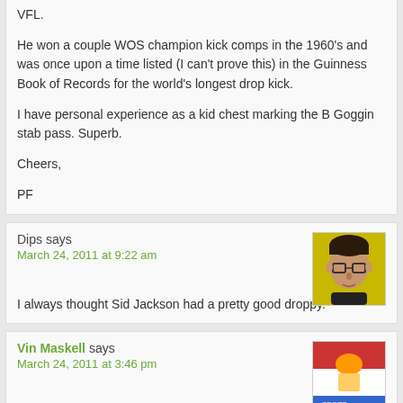VFL.

He won a couple WOS champion kick comps in the 1960's and was once upon a time listed (I can't prove this) in the Guinness Book of Records for the world's longest drop kick.

I have personal experience as a kid chest marking the B Goggin stab pass. Superb.

Cheers,

PF
Dips says
March 24, 2011 at 9:22 am

I always thought Sid Jackson had a pretty good droppy.
Vin Maskell says
March 24, 2011 at 3:46 pm

The Encyclopedia of AFL Footballers says Paul Vinar 'was one of the great kicks of his era regularly featuring promine World of Sport's long kicking competitions'. No doubt many of the long kicks were drop kicks.